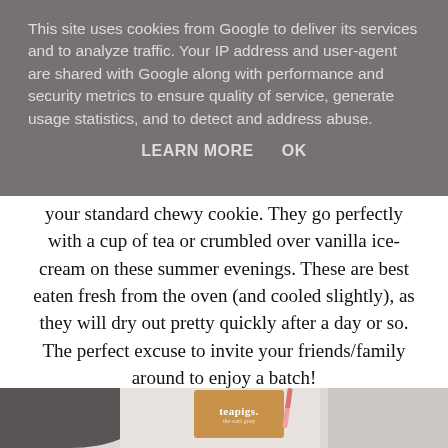This site uses cookies from Google to deliver its services and to analyze traffic. Your IP address and user-agent are shared with Google along with performance and security metrics to ensure quality of service, generate usage statistics, and to detect and address abuse.
LEARN MORE   OK
your standard chewy cookie. They go perfectly with a cup of tea or crumbled over vanilla ice-cream on these summer evenings. These are best eaten fresh from the oven (and cooled slightly), as they will dry out pretty quickly after a day or so. The perfect excuse to invite your friends/family around to enjoy a batch!
[Figure (photo): Photo of a cup of dark tea and a teapigs tea bag packet on a light surface with scattered dried fruit/berries]